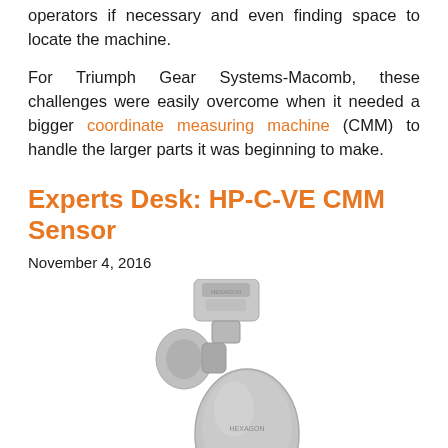operators if necessary and even finding space to locate the machine.
For Triumph Gear Systems-Macomb, these challenges were easily overcome when it needed a bigger coordinate measuring machine (CMM) to handle the larger parts it was beginning to make.
Experts Desk: HP-C-VE CMM Sensor
November 4, 2016
[Figure (photo): A silver CMM (coordinate measuring machine) sensor head with green LED lights at the bottom, shown at an angle. The device appears to be an HP-C-VE CMM sensor by Hexagon.]